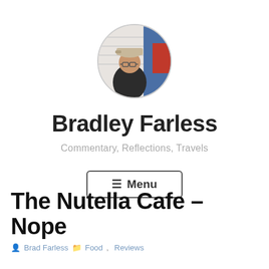[Figure (photo): Circular avatar photo of a person wearing a cap and glasses, with a blue and red background]
Bradley Farless
Commentary, Reflections, Travels
☰ Menu
The Nutella Cafe – Nope
Brad Farless   Food, Reviews